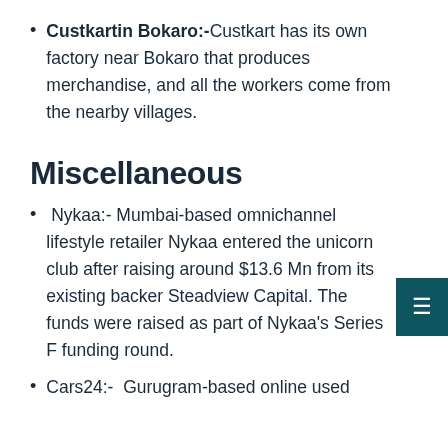Custkartin Bokaro:-Custkart has its own factory near Bokaro that produces merchandise, and all the workers come from the nearby villages.
Miscellaneous
Nykaa:- Mumbai-based omnichannel lifestyle retailer Nykaa entered the unicorn club after raising around $13.6 Mn from its existing backer Steadview Capital. The funds were raised as part of Nykaa's Series F funding round.
Cars24:-  Gurugram-based online used